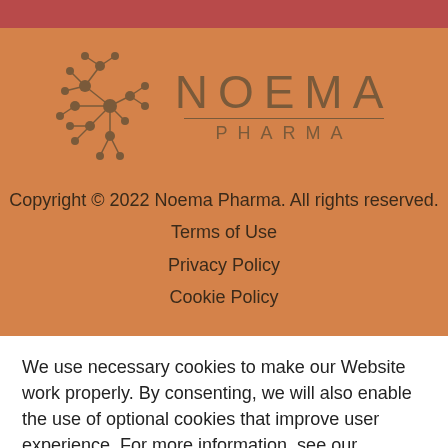[Figure (logo): Noema Pharma logo with network/brain node graphic and text NOEMA PHARMA]
Copyright © 2022 Noema Pharma. All rights reserved.
Terms of Use
Privacy Policy
Cookie Policy
We use necessary cookies to make our Website work properly. By consenting, we will also enable the use of optional cookies that improve user experience. For more information, see our Cookies Policy
Cookie Settings  Accept  Reject All